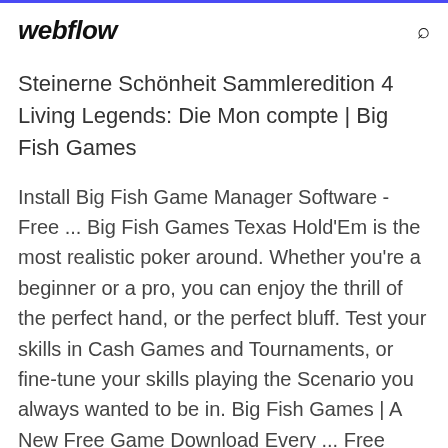webflow
Steinerne Schönheit Sammleredition 4 Living Legends: Die Mon compte | Big Fish Games
Install Big Fish Game Manager Software - Free ... Big Fish Games Texas Hold'Em is the most realistic poker around. Whether you're a beginner or a pro, you can enjoy the thrill of the perfect hand, or the perfect bluff. Test your skills in Cash Games and Tournaments, or fine-tune your skills playing the Scenario you always wanted to be in. Big Fish Games | A New Free Game Download Every ... Free game downloads & online games at Big Fish Games - A new game every day! PC games & mac games - Play puzzle games, arcade games, mahjong games, card